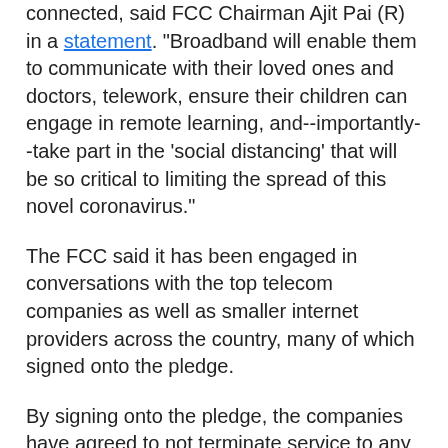connected, said FCC Chairman Ajit Pai (R) in a statement. "Broadband will enable them to communicate with their loved ones and doctors, telework, ensure their children can engage in remote learning, and--importantly--take part in the 'social distancing' that will be so critical to limiting the spread of this novel coronavirus."
The FCC said it has been engaged in conversations with the top telecom companies as well as smaller internet providers across the country, many of which signed onto the pledge.
By signing onto the pledge, the companies have agreed to not terminate service to any customers who are unable to pay their bills due to "disruptions caused by the coronavirus pandemic" over the next 60 days. That includes people whose workplaces have shut down due to the virus or workers who are out of a job as the country dramatically transitions into self-quarantines and away from public gatherings.
The companies have also agreed to waive any late fees and open up their Wi-Fi hotspots to any American who needs them.